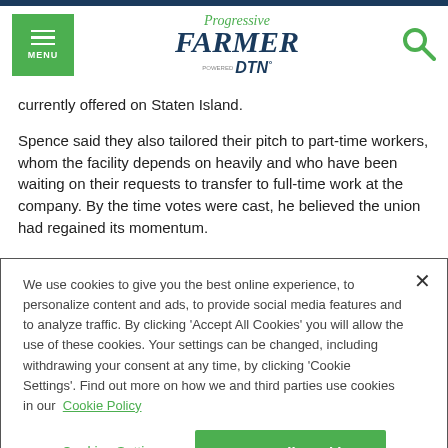Progressive Farmer powered by DTN
currently offered on Staten Island.
Spence said they also tailored their pitch to part-time workers, whom the facility depends on heavily and who have been waiting on their requests to transfer to full-time work at the company. By the time votes were cast, he believed the union had regained its momentum.
"We had to claw it back," he said.
We use cookies to give you the best online experience, to personalize content and ads, to provide social media features and to analyze traffic. By clicking 'Accept All Cookies' you will allow the use of these cookies. Your settings can be changed, including withdrawing your consent at any time, by clicking 'Cookie Settings'. Find out more on how we and third parties use cookies in our Cookie Policy